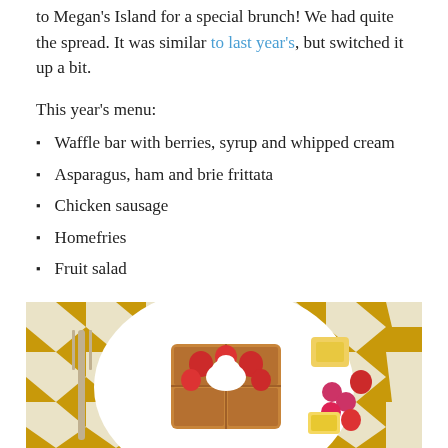to Megan's Island for a special brunch! We had quite the spread. It was similar to last year's, but switched it up a bit.
This year's menu:
Waffle bar with berries, syrup and whipped cream
Asparagus, ham and brie frittata
Chicken sausage
Homefries
Fruit salad
[Figure (photo): A overhead photo of a waffle topped with strawberries and whipped cream on a white plate, accompanied by raspberries and pineapple chunks, on a gold and white chevron patterned tablecloth, with a fork visible on the left.]